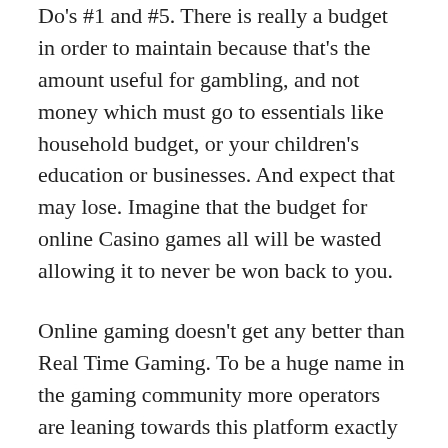Do's #1 and #5. There is really a budget in order to maintain because that's the amount useful for gambling, and not money which must go to essentials like household budget, or your children's education or businesses. And expect that may lose. Imagine that the budget for online Casino games all will be wasted allowing it to never be won back to you.
Online gaming doesn't get any better than Real Time Gaming. To be a huge name in the gaming community more operators are leaning towards this platform exactly like Ruby Slots Casino spent some time working. Visit the home within the best Vegas style slots on the web, visit Ruby Slots today.
A no deposit casino is in other words online casino where a gambler can go into a casino and play for